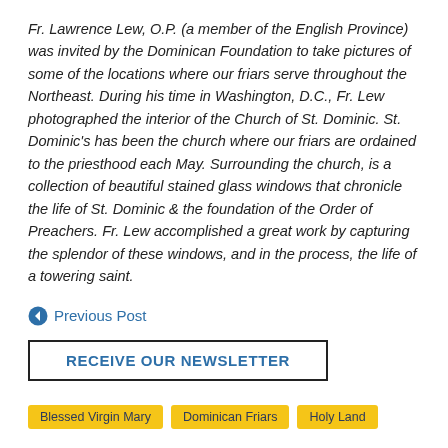Fr. Lawrence Lew, O.P. (a member of the English Province) was invited by the Dominican Foundation to take pictures of some of the locations where our friars serve throughout the Northeast. During his time in Washington, D.C., Fr. Lew photographed the interior of the Church of St. Dominic. St. Dominic's has been the church where our friars are ordained to the priesthood each May. Surrounding the church, is a collection of beautiful stained glass windows that chronicle the life of St. Dominic & the foundation of the Order of Preachers. Fr. Lew accomplished a great work by capturing the splendor of these windows, and in the process, the life of a towering saint.
Previous Post
RECEIVE OUR NEWSLETTER
Blessed Virgin Mary
Dominican Friars
Holy Land